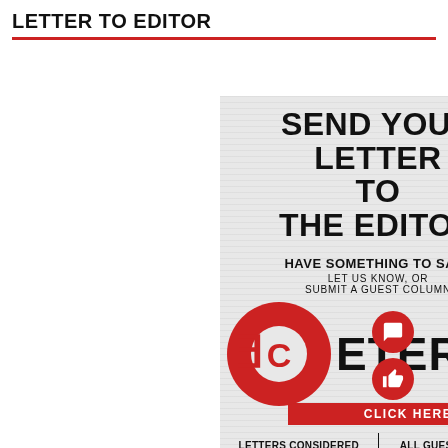LETTER TO EDITOR
[Figure (infographic): Advertisement for Etcetera publication inviting readers to send letters to the editor or submit guest columns. Large bold text reads 'SEND YOUR LETTER TO THE EDITOR' over a newspaper-textured background, with the Etcetera logo (red circular icon with stylized letters), 'HAVE SOMETHING TO SAY? LET US KNOW, OR SUBMIT A GUEST COLUMN', a red 'CLICK HERE' button, and two text columns at the bottom: left column 'LETTERS CONSIDERED FOR PUBLICATION MUST BE 250 WORDS OR FEWER AND WILL BE EDITED FOR' and right column 'ALL GUEST COLUMNS MUST BE BETWEEN 400 TO 600 WORDS LONG AND MUST GO'.]